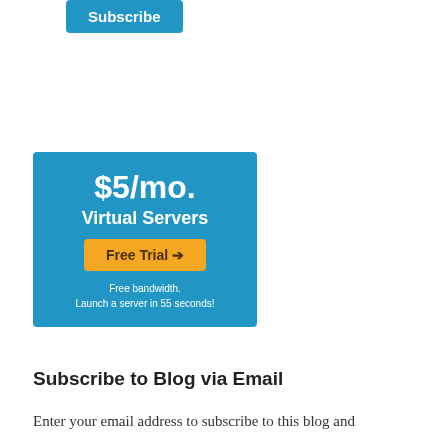[Figure (infographic): Blue button with white text 'Subscribe']
[Figure (infographic): Advertisement banner with blue background: '$5/mo. Virtual Servers' with a yellow 'Free Trial →' button and text 'Free bandwidth. Launch a server in 55 seconds!']
Subscribe to Blog via Email
Enter your email address to subscribe to this blog and